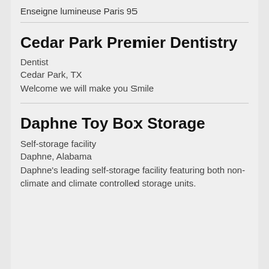Enseigne lumineuse Paris 95
Cedar Park Premier Dentistry
Dentist
Cedar Park, TX
Welcome we will make you Smile
Daphne Toy Box Storage
Self-storage facility
Daphne, Alabama
Daphne's leading self-storage facility featuring both non-climate and climate controlled storage units.